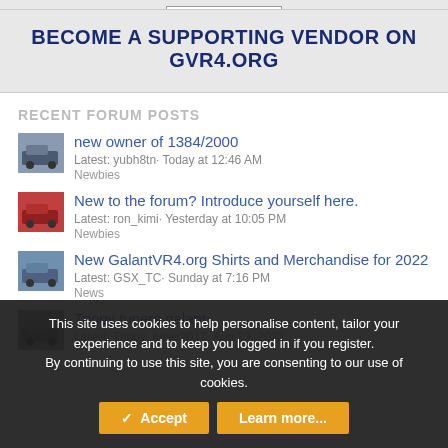www.ntmracing.com
BECOME A SUPPORTING VENDOR ON GVR4.ORG
RECENT FORUM POSTS
new owner of 1384/2000
Latest: yubh8tn· Today at 12:46 AM
Newbies
New to the forum? Introduce yourself here.
Latest: ron_kimi· Yesterday at 10:05 PM
Newbies
New GalantVR4.org Shirts and Merchandise for 2022
Latest: GSX_TC· Sunday at 7:16 PM
News
Trippy tuners galant
Latest: Trippy_tuner2017· Aug 23, 2022
This site uses cookies to help personalise content, tailor your experience and to keep you logged in if you register.
By continuing to use this site, you are consenting to our use of cookies.